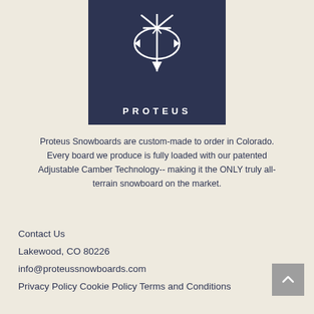[Figure (logo): Proteus Snowboards logo: dark navy square with white abstract geometric snowboard/shield icon and the word PROTEUS in white capital letters with wide letter spacing]
Proteus Snowboards are custom-made to order in Colorado. Every board we produce is fully loaded with our patented Adjustable Camber Technology-- making it the ONLY truly all-terrain snowboard on the market.
Contact Us
Lakewood, CO 80226
info@proteussnowboards.com
Privacy Policy Cookie Policy Terms and Conditions